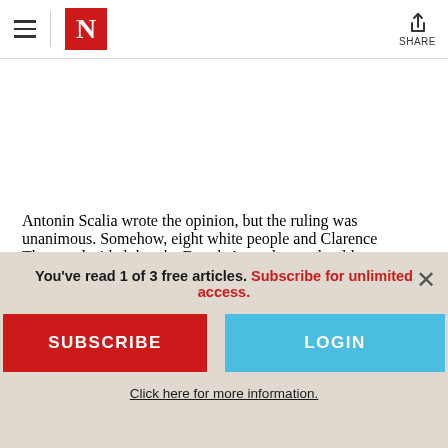The Nation — Navigation header with hamburger menu, N logo, and share button
Antonin Scalia wrote the opinion, but the ruling was unanimous. Somehow, eight white people and Clarence Thomas decided that the Fourth Amendment should not matter if the
You've read 1 of 3 free articles. Subscribe for unlimited access.
SUBSCRIBE
LOGIN
Click here for more information.